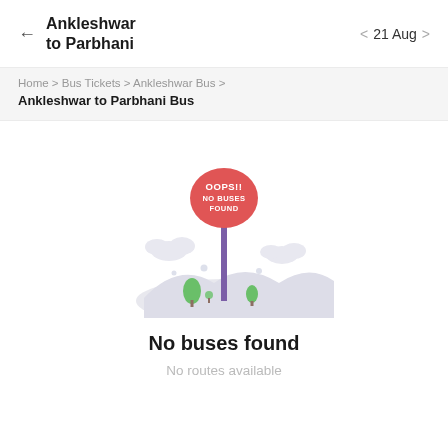Ankleshwar to Parbhani  ← | 21 Aug
Home > Bus Tickets > Ankleshwar Bus >
Ankleshwar to Parbhani Bus
[Figure (illustration): An illustration of a road sign on a pole with a red oval badge reading OOPS!! NO BUSES FOUND, surrounded by clouds, hills, and small green trees]
No buses found
No routes available